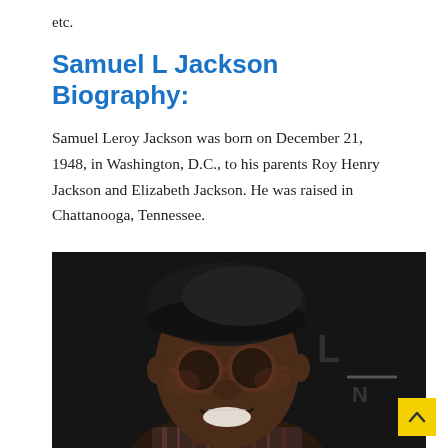etc.
Samuel L Jackson Biography:
Samuel Leroy Jackson was born on December 21, 1948, in Washington, D.C., to his parents Roy Henry Jackson and Elizabeth Jackson. He was raised in Chattanooga, Tennessee.
[Figure (photo): Portrait photo of Samuel L. Jackson smiling, wearing round dark-framed glasses and a black beret, in front of a dark background with partial text visible.]